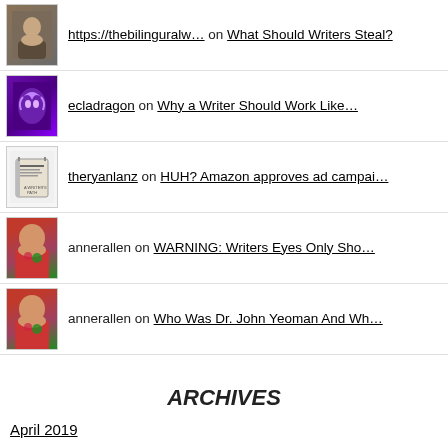https://thebilinguralw… on What Should Writers Steal?
ecladragon on Why a Writer Should Work Like…
theryanlanz on HUH? Amazon approves ad campai…
annerallen on WARNING: Writers Eyes Only Sho…
annerallen on Who Was Dr. John Yeoman And Wh…
ARCHIVES
April 2019